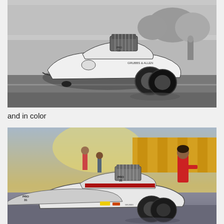[Figure (photo): Black and white photograph of a drag racing car (Pro 31, white Ford Pinto funny car with supercharger, sponsorship decals) doing a wheelie on a drag strip, with crowds of spectators visible in the grandstands in the background.]
and in color
[Figure (photo): Color photograph of the same Pro 31 drag racing car on the track, with spectators and a tent/canopy visible in the background, and a man in a red shirt standing near the track.]